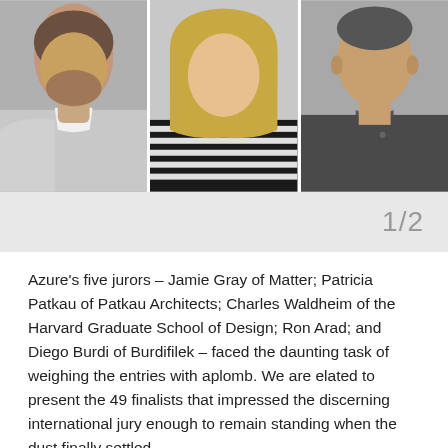[Figure (photo): Three headshot photos side by side: left shows a man in a light grey blazer and white shirt, middle shows a woman with blonde hair in a black and white striped top, right shows a man in a dark grey shirt.]
1/2
Azure's five jurors – Jamie Gray of Matter; Patricia Patkau of Patkau Architects; Charles Waldheim of the Harvard Graduate School of Design; Ron Arad; and Diego Burdi of Burdifilek – faced the daunting task of weighing the entries with aplomb. We are elated to present the 49 finalists that impressed the discerning international jury enough to remain standing when the dust finally settled.
Chosen from these, the winners will be announced during a ceremony at the Evergreen Brickworks on June 30th.